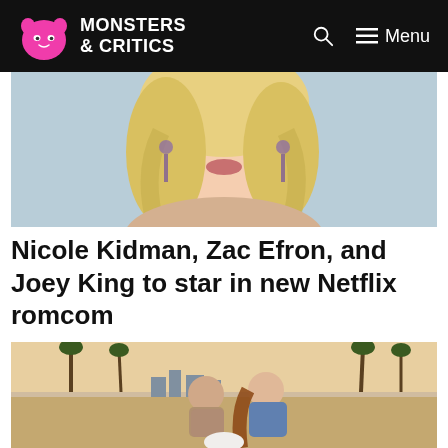Monsters & Critics — Menu
[Figure (photo): Close-up photo of Nicole Kidman with blonde wavy hair and ornate earrings against a light blue background]
Nicole Kidman, Zac Efron, and Joey King to star in new Netflix romcom
[Figure (photo): Two young people sitting on a beach at sunset, a man in a patterned shirt and a woman with long auburn hair, with palm trees and a skyline in the background]